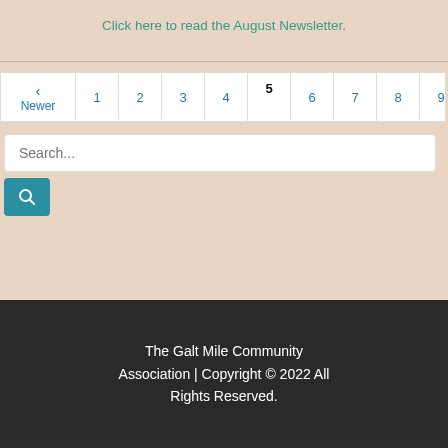Click here to read the August Newsletter.
‹ Newer 1 2 3 4 5 6 7 8 9 10 Old… ›
Search...
The Galt Mile Community Association | Copyright © 2022 All Rights Reserved.